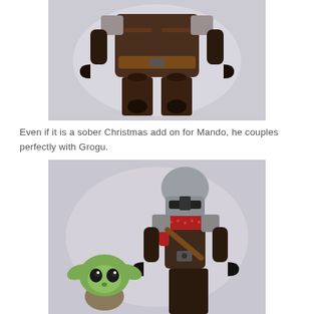[Figure (photo): Close-up photo of a dark brown LEGO Mandalorian minifigure torso and legs against a light gray/white background, showing detailed armor printing with brown and black tones.]
Even if it is a sober Christmas add on for Mando, he couples perfectly with Grogu.
[Figure (photo): Photo of a LEGO Mandalorian minifigure (with silver helmet and red festive scarf/holiday decoration) standing next to a small LEGO Grogu (Baby Yoda) figure with green head and large dark eyes, against a light gray background.]